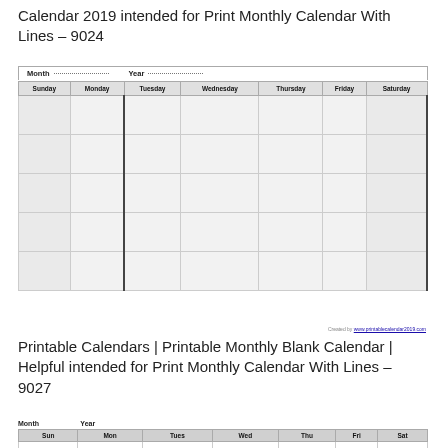Calendar 2019 intended for Print Monthly Calendar With Lines – 9024
[Figure (other): Blank monthly calendar grid with columns for Sunday through Saturday, Month and Year fields at top, 5 week rows with light gray shading on Sunday and Saturday columns]
Created by www.printablecalendar2019.com
Printable Calendars | Printable Monthly Blank Calendar | Helpful intended for Print Monthly Calendar With Lines – 9027
[Figure (other): Blank monthly calendar grid with columns for Sun through Sat, Month and Year fields at top, with lined rows in each week cell]